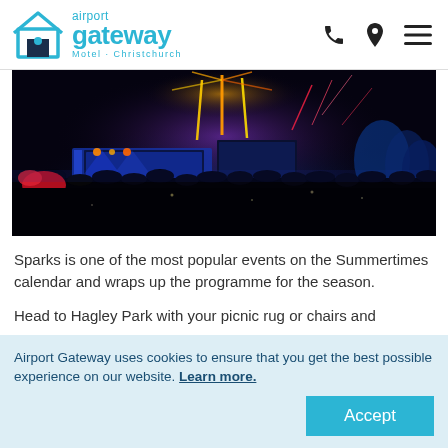airport gateway Motel · Christchurch
[Figure (photo): Night-time outdoor concert at Hagley Park with fireworks above the stage, large crowd in foreground, colourful stage lighting in blue and orange.]
Sparks is one of the most popular events on the Summertimes calendar and wraps up the programme for the season.
Head to Hagley Park with your picnic rug or chairs and
Airport Gateway uses cookies to ensure that you get the best possible experience on our website. Learn more.